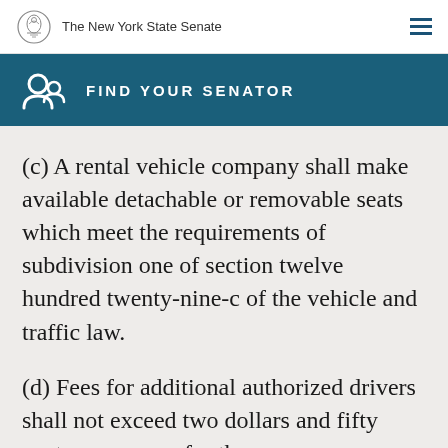The New York State Senate
FIND YOUR SENATOR
(c) A rental vehicle company shall make available detachable or removable seats which meet the requirements of subdivision one of section twelve hundred twenty-nine-c of the vehicle and traffic law.
(d) Fees for additional authorized drivers shall not exceed two dollars and fifty cents per person for the